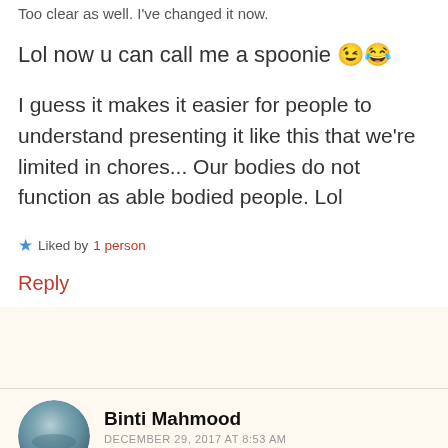Too clear as well. I've changed it now.
Lol now u can call me a spoonie 😉😂
I guess it makes it easier for people to understand presenting it like this that we're limited in chores... Our bodies do not function as able bodied people. Lol
★ Liked by 1 person
Reply
Binti Mahmood
DECEMBER 29, 2017 AT 8:53 AM
💯 it does make us understand better....
Feedback